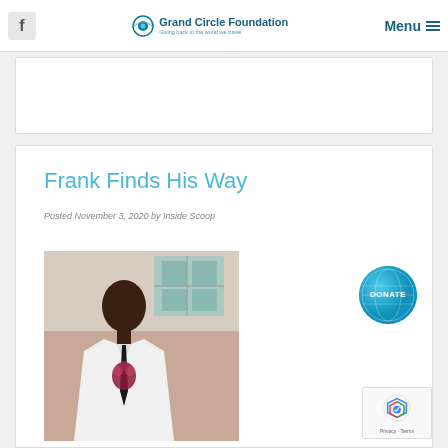Grand Circle Foundation — Giving back to the world we travel | Menu
[Figure (other): Advertisement banner placeholder]
Frank Finds His Way
Posted November 3, 2020 by Inside Scoop
[Figure (photo): Young man in white dress shirt with black tie and floral decoration, standing against a building wall with windows in background]
[Figure (other): Circular teal DONATE button with globe graphic]
[Figure (other): Google reCAPTCHA badge with Privacy and Terms links]